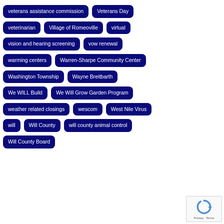veterans assistance commission
Veterans Day
veterinarian
Village of Romeoville
virtual
vision and hearing screening
vow renewal
warming centers
Warren-Sharpe Community Center
Washington Township
Wayne Breitbarth
We WILL Build
We Will Grow Garden Program
weather related closings
wescom
West Nile Virus
will
Will County
will county animal control
Will County Board